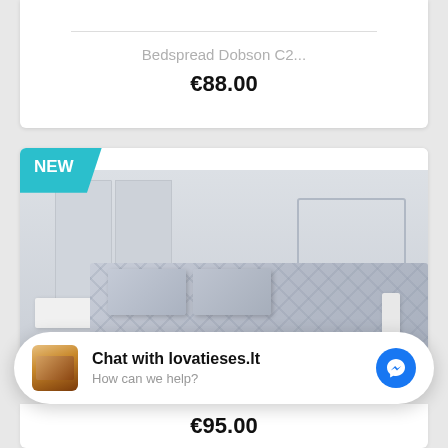Bedspread Dobson C2...
€88.00
[Figure (photo): NEW badge on a product card showing a bedroom with a patterned gray/silver bedspread on a bed with matching pillows, white walls and furniture in background]
Chat with lovatieses.lt
How can we help?
€95.00